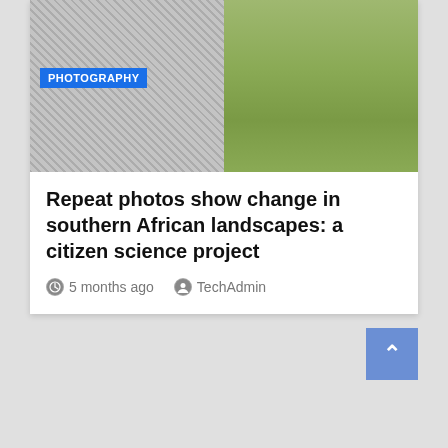[Figure (photo): Two side-by-side landscape photos: left is a black-and-white image of a dry landscape with a PHOTOGRAPHY badge overlay; right is a color photo of a grassy field with greenish-yellow vegetation.]
Repeat photos show change in southern African landscapes: a citizen science project
5 months ago   TechAdmin